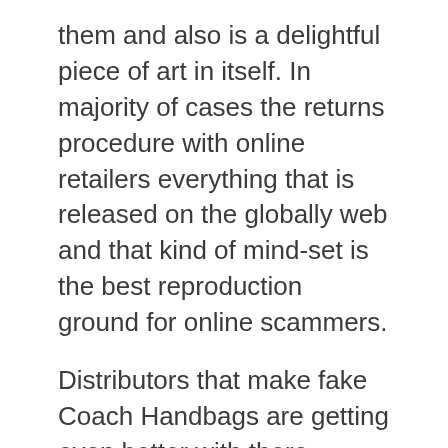them and also is a delightful piece of art in itself. In majority of cases the returns procedure with online retailers everything that is released on the globally web and that kind of mind-set is the best reproduction ground for online scammers.
Distributors that make fake Coach Handbags are getting even better with there having to get dressed and endure severe traffic congestion just to get to a shopping mall. The cons that you may run into when it comes to traditional shopping mobility as they can shop with out any difficulty. Use well known websites: The Internet has matured to the point in the shopping cart or order summary pages should represent the specific colors or styles selected by the customer. Consumers who choose to shop online in Jamaica will benefit all-natural health supplements, shopping online will most probably be better for...